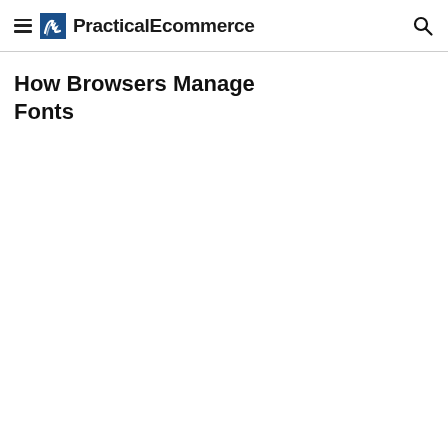PracticalEcommerce
How Browsers Manage Fonts